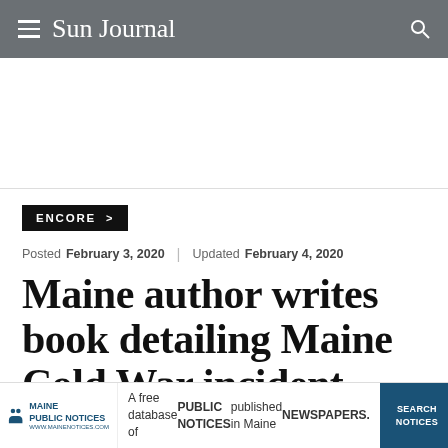Sun Journal
ENCORE >
Posted February 3, 2020 | Updated February 4, 2020
Maine author writes book detailing Maine Cold War incident
[Figure (infographic): Maine Public Notices advertisement banner: A free database of PUBLIC NOTICES published in Maine NEWSPAPERS. SEARCH NOTICES.]